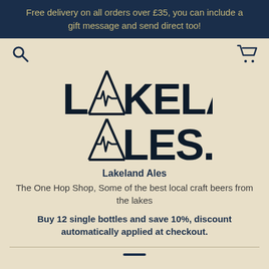Free delivery on all orders over £35, you can include a gift message and send direct too!
[Figure (logo): Lakeland Ales logo with mountain/A graphic and text 'LAKELAND ALES.']
Lakeland Ales
The One Hop Shop, Some of the best local craft beers from the lakes
Buy 12 single bottles and save 10%, discount automatically applied at checkout.